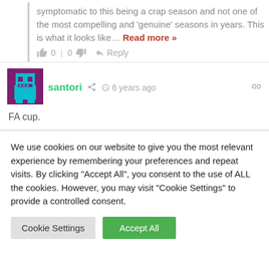symptomatic to this being a crap season and not one of the most compelling and 'genuine' seasons in years. This is what it looks like… Read more »
0 | 0   Reply
[Figure (illustration): Pixel art avatar of a teal robot-like figure on a purple background]
santori  6 years ago
FA cup.
We use cookies on our website to give you the most relevant experience by remembering your preferences and repeat visits. By clicking "Accept All", you consent to the use of ALL the cookies. However, you may visit "Cookie Settings" to provide a controlled consent.
Cookie Settings   Accept All